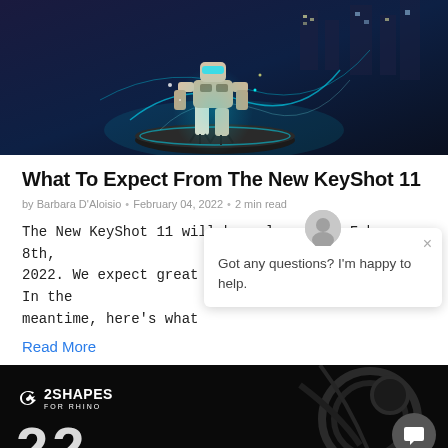[Figure (illustration): A sci-fi robot/warrior figure crouching on a dark pedestal with glowing cyan/teal energy lines and a cityscape background]
What To Expect From The New KeyShot 11
by Barbara D'Aloisio • February 04, 2022 • 2 min read
The New KeyShot 11 will be released on Fabruary 8th, 2022. We expect great things from this release. In the meantime, here's what
Read More
[Figure (illustration): 2Shapes for Rhino logo and product imagery on dark background with large white R letters visible]
Got any questions? I'm happy to help.